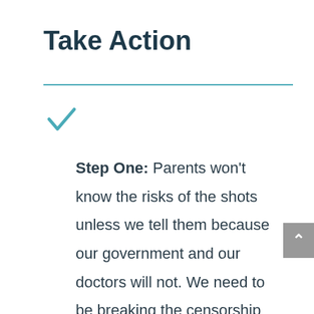Take Action
Step One: Parents won't know the risks of the shots unless we tell them because our government and our doctors will not. We need to be breaking the censorship around vaccine injuries, as well as the fact that these shots don't work and aren't